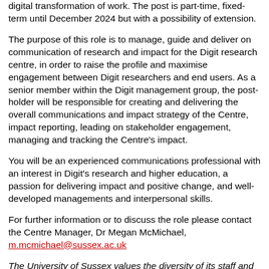digital transformation of work. The post is part-time, fixed-term until December 2024 but with a possibility of extension.
The purpose of this role is to manage, guide and deliver on communication of research and impact for the Digit research centre, in order to raise the profile and maximise engagement between Digit researchers and end users. As a senior member within the Digit management group, the post-holder will be responsible for creating and delivering the overall communications and impact strategy of the Centre, impact reporting, leading on stakeholder engagement, managing and tracking the Centre's impact.
You will be an experienced communications professional with an interest in Digit's research and higher education, a passion for delivering impact and positive change, and well-developed managements and interpersonal skills.
For further information or to discuss the role please contact the Centre Manager, Dr Megan McMichael, m.mcmichael@sussex.ac.uk
The University of Sussex values the diversity of its staff and